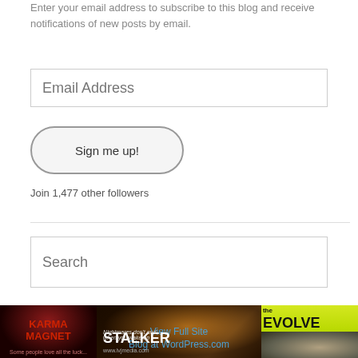Enter your email address to subscribe to this blog and receive notifications of new posts by email.
Email Address
Sign me up!
Join 1,477 other followers
Search
[Figure (screenshot): Three movie poster images side by side: Karma Magnet, Stalker, and The Evolver. Center image has overlay text 'View Full Site' and 'Blog at WordPress.com']